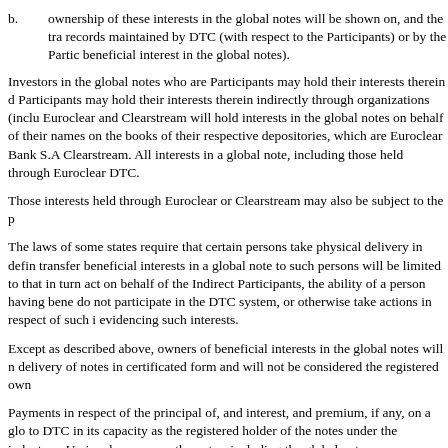b.	ownership of these interests in the global notes will be shown on, and the tra records maintained by DTC (with respect to the Participants) or by the Partic beneficial interest in the global notes).
Investors in the global notes who are Participants may hold their interests therein d Participants may hold their interests therein indirectly through organizations (inclu Euroclear and Clearstream will hold interests in the global notes on behalf of their names on the books of their respective depositories, which are Euroclear Bank S.A Clearstream. All interests in a global note, including those held through Euroclear DTC.
Those interests held through Euroclear or Clearstream may also be subject to the p
The laws of some states require that certain persons take physical delivery in defin transfer beneficial interests in a global note to such persons will be limited to that in turn act on behalf of the Indirect Participants, the ability of a person having bene do not participate in the DTC system, or otherwise take actions in respect of such i evidencing such interests.
Except as described above, owners of beneficial interests in the global notes will n delivery of notes in certificated form and will not be considered the registered own
Payments in respect of the principal of, and interest, and premium, if any, on a glo to DTC in its capacity as the registered holder of the notes under the indenture. Un in whose names the notes, including the global notes, are registered as the owners purposes. Consequently, neither we nor the trustee nor any of our respective agents
a.	any aspect of DTC's records or any Participant's or Indirect Participant's re